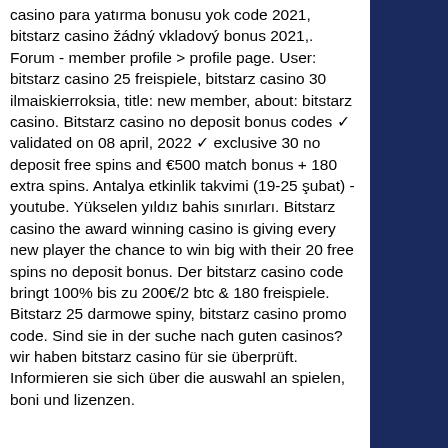casino para yatırma bonusu yok code 2021, bitstarz casino žádný vkladový bonus 2021,. Forum - member profile &gt; profile page. User: bitstarz casino 25 freispiele, bitstarz casino 30 ilmaiskierroksia, title: new member, about: bitstarz casino. Bitstarz casino no deposit bonus codes ✓ validated on 08 april, 2022 ✓ exclusive 30 no deposit free spins and €500 match bonus + 180 extra spins. Antalya etkinlik takvimi (19-25 şubat) - youtube. Yükselen yıldız bahis sınırları. Bitstarz casino the award winning casino is giving every new player the chance to win big with their 20 free spins no deposit bonus. Der bitstarz casino code bringt 100% bis zu 200€/2 btc &amp; 180 freispiele. Bitstarz 25 darmowe spiny, bitstarz casino promo code. Sind sie in der suche nach guten casinos? wir haben bitstarz casino für sie überprüft. Informieren sie sich über die auswahl an spielen, boni und lizenzen.